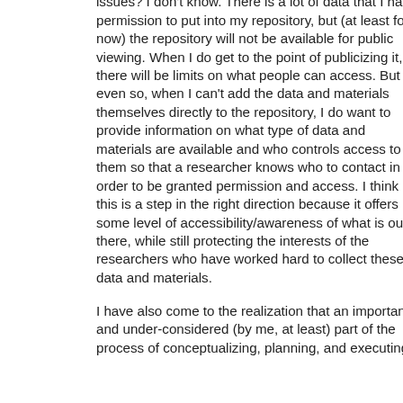issues? I don't know. There is a lot of data that I have permission to put into my repository, but (at least for now) the repository will not be available for public viewing. When I do get to the point of publicizing it, there will be limits on what people can access. But even so, when I can't add the data and materials themselves directly to the repository, I do want to provide information on what type of data and materials are available and who controls access to them so that a researcher knows who to contact in order to be granted permission and access. I think this is a step in the right direction because it offers some level of accessibility/awareness of what is out there, while still protecting the interests of the researchers who have worked hard to collect these data and materials.
I have also come to the realization that an important and under-considered (by me, at least) part of the process of conceptualizing, planning, and executing a